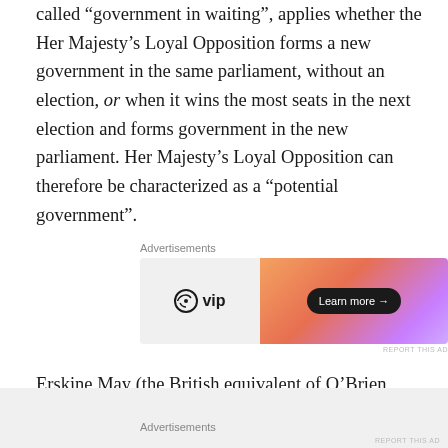called “government in waiting”, applies whether the Her Majesty’s Loyal Opposition forms a new government in the same parliament, without an election, or when it wins the most seats in the next election and forms government in the new parliament. Her Majesty’s Loyal Opposition can therefore be characterized as a “potential government”.
[Figure (other): WordPress VIP advertisement banner with gradient orange-purple background and 'Learn more →' button]
Erskine May (the British equivalent of O’Brien and Bosc) describes Her Majesty’s Loyal Opposition as “the largest minority party which is prepared, in the event of the resignation of the government, to assume office.”